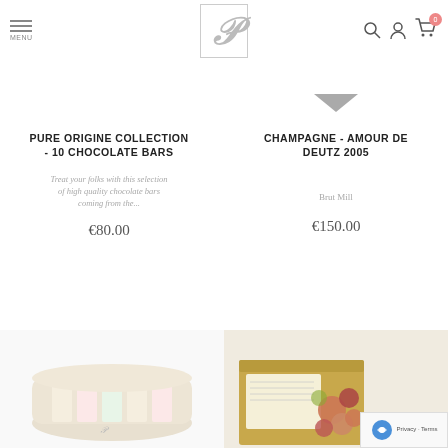[Figure (screenshot): Website header with hamburger menu icon and MENU label on left, stylized P logo in bordered box in center, search/account/cart icons on right]
PURE ORIGINE COLLECTION - 10 CHOCOLATE BARS
Treat your folks with this selection of high quality chocolate bars coming from the...
€80.00
CHAMPAGNE - AMOUR DE DEUTZ 2005
Brut Mill
€150.00
[Figure (photo): Chocolate bar product image at bottom left]
[Figure (photo): Assorted chocolates and confections in a box at bottom right with reCAPTCHA badge overlay]